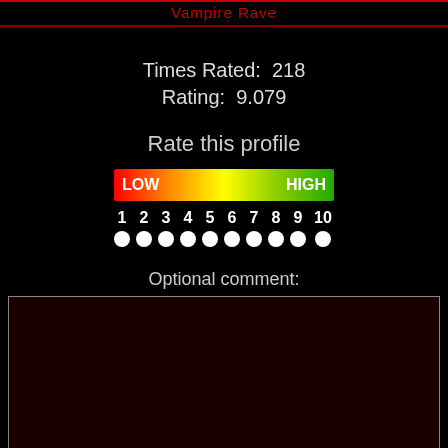Vampire Rave
Times Rated:  218
Rating:  9.079
Rate this profile
[Figure (infographic): A horizontal gradient bar from red (LOW) on the left to green (HIGH) on the right, with rating numbers 1 through 10 below and white dot radio buttons beneath each number.]
Optional comment:
[Figure (other): A dark red/black textarea input box for optional comment entry.]